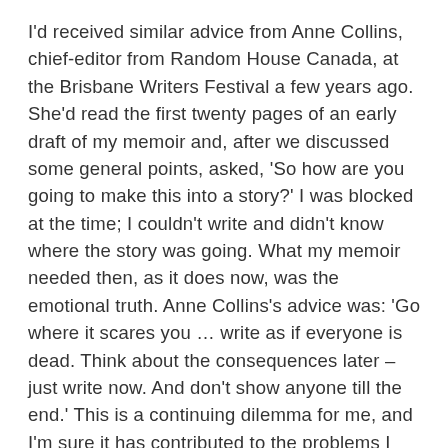I'd received similar advice from Anne Collins, chief-editor from Random House Canada, at the Brisbane Writers Festival a few years ago. She'd read the first twenty pages of an early draft of my memoir and, after we discussed some general points, asked, 'So how are you going to make this into a story?' I was blocked at the time; I couldn't write and didn't know where the story was going. What my memoir needed then, as it does now, was the emotional truth. Anne Collins's advice was: 'Go where it scares you … write as if everyone is dead. Think about the consequences later – just write now. And don't show anyone till the end.' This is a continuing dilemma for me, and I'm sure it has contributed to the problems I now have with my memoir; I show my work-in-progress to others too much, mostly for re-assurance or encouragement. I need to have more confidence as a writer and keep my